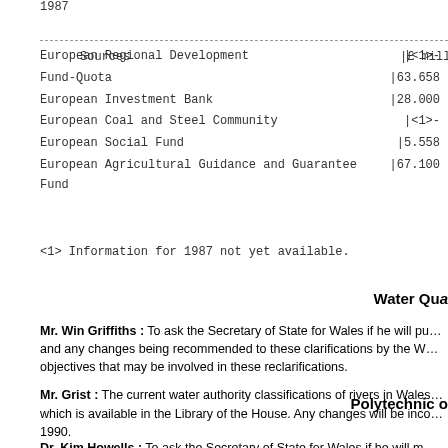1987
| Sources | £ million |
| --- | --- |
| European Regional Development Fund-Quota | <1>-
63.658 |
| European Investment Bank | 28.000 |
| European Coal and Steel Community | <1>- |
| European Social Fund | 5.558 |
| European Agricultural Guidance and Guarantee Fund | 67.100 |
<1> Information for 1987 not yet available.
Water Qua
Mr. Win Griffiths : To ask the Secretary of State for Wales if he will pu… and any changes being recommended to these clarifications by the W… objectives that may be involved in these reclarifications.
Mr. Grist : The current water authority classifications of rivers in Wales… which is available in the Library of the House. Any changes will be inco… 1990.
Polytechnic o
Dr. Kim Howells : To ask the Secretary of State for Wales if he will m…